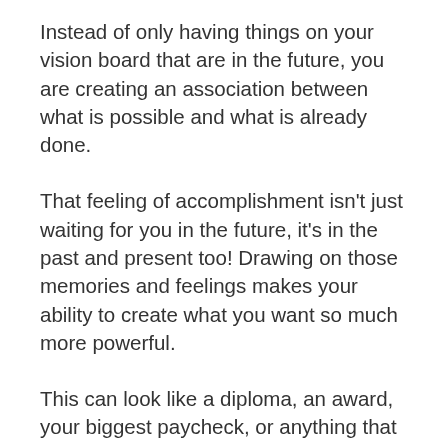Instead of only having things on your vision board that are in the future, you are creating an association between what is possible and what is already done.
That feeling of accomplishment isn't just waiting for you in the future, it's in the past and present too! Drawing on those memories and feelings makes your ability to create what you want so much more powerful.
This can look like a diploma, an award, your biggest paycheck, or anything that symbolizes something you've done. It doesn't have to be some momentous thing, just anything that